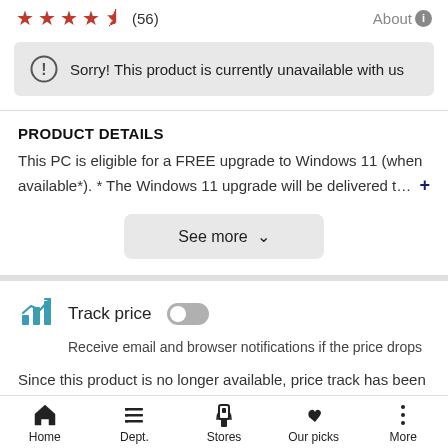★★★★½ (56)   About ℹ
Sorry! This product is currently unavailable with us
PRODUCT DETAILS
This PC is eligible for a FREE upgrade to Windows 11 (when available*). * The Windows 11 upgrade will be delivered t… +
See more ∨
Track price  [toggle off]
Receive email and browser notifications if the price drops
Since this product is no longer available, price track has been disabled for this product.
Home  Dept.  Stores  Our picks  More